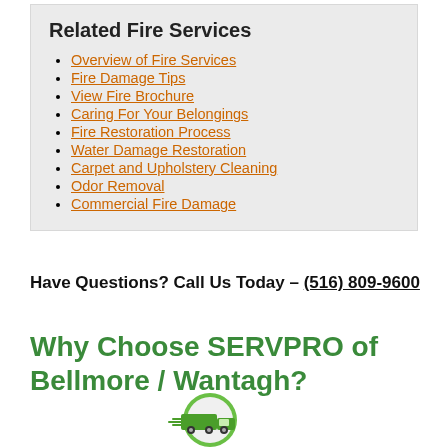Related Fire Services
Overview of Fire Services
Fire Damage Tips
View Fire Brochure
Caring For Your Belongings
Fire Restoration Process
Water Damage Restoration
Carpet and Upholstery Cleaning
Odor Removal
Commercial Fire Damage
Have Questions? Call Us Today – (516) 809-9600
Why Choose SERVPRO of Bellmore / Wantagh?
[Figure (illustration): Green circular truck/delivery icon for SERVPRO]